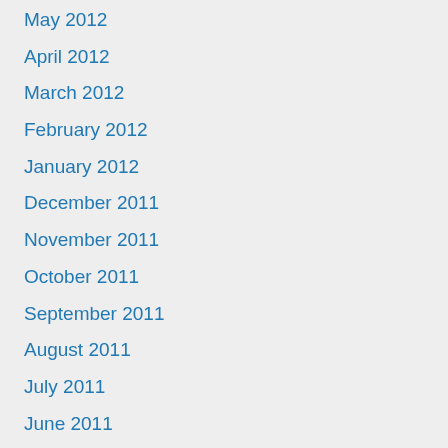May 2012
April 2012
March 2012
February 2012
January 2012
December 2011
November 2011
October 2011
September 2011
August 2011
July 2011
June 2011
May 2011